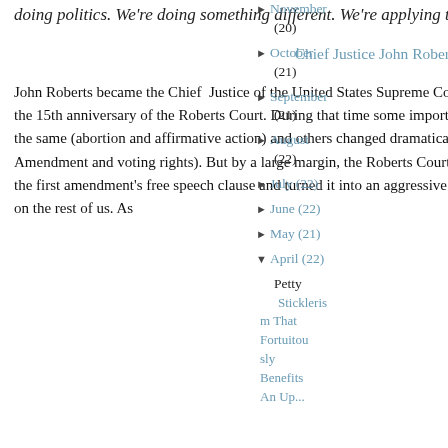doing politics. We're doing something different. We're applying the law.
Chief Justice John Roberts
John Roberts became the Chief Justice of the United States Supreme Court on September 29, 2005. This term will make the 15th anniversary of the Roberts Court. During that time some important constitutional doctrines stayed more or less the same (abortion and affirmative action) and others changed dramatically (the Spending Power, the Second Amendment and voting rights). But by a large margin, the Roberts Court generally and the Chief personally have taken the first amendment's free speech clause and turned it into an aggressive tool to impose the Court's conservative values on the rest of us. As
November (20)
October (21)
September (21)
August (22)
July (22)
June (22)
May (21)
April (22)
Petty Sticklerism That Fortuitously Benefits An Up...